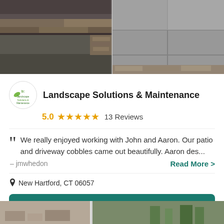[Figure (photo): Two side-by-side photos showing stone/bluestone patio and driveway cobblestone work by Landscape Solutions & Maintenance]
Landscape Solutions & Maintenance
5.0 ★★★★★ 13 Reviews
We really enjoyed working with John and Aaron. Our patio and driveway cobbles came out beautifully. Aaron des...
– jmwhedon
Read More >
New Hartford, CT 06057
Send Message
[Figure (photo): Partial bottom strip showing additional landscape/garden photos]